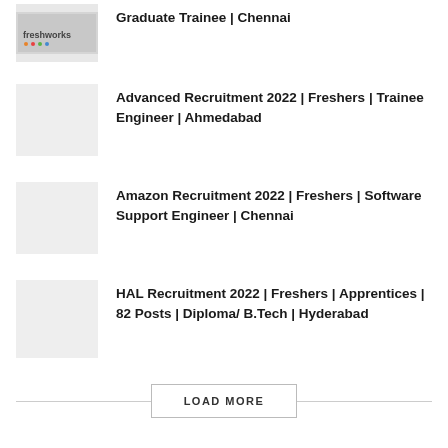Graduate Trainee | Chennai
Advanced Recruitment 2022 | Freshers | Trainee Engineer | Ahmedabad
Amazon Recruitment 2022 | Freshers | Software Support Engineer | Chennai
HAL Recruitment 2022 | Freshers | Apprentices | 82 Posts | Diploma/ B.Tech | Hyderabad
LOAD MORE